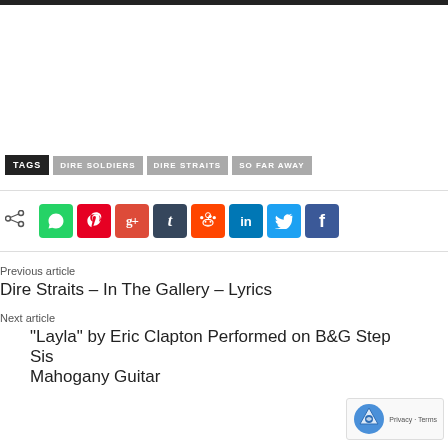[Figure (other): Dark top bar banner]
TAGS | DIRE SOLDIERS | DIRE STRAITS | SO FAR AWAY
[Figure (other): Social share buttons: WhatsApp, Pinterest, Google+, Tumblr, Reddit, LinkedIn, Twitter, Facebook]
Previous article
Dire Straits – In The Gallery – Lyrics
Next article
“Layla” by Eric Clapton Performed on B&G Step Sis Mahogany Guitar